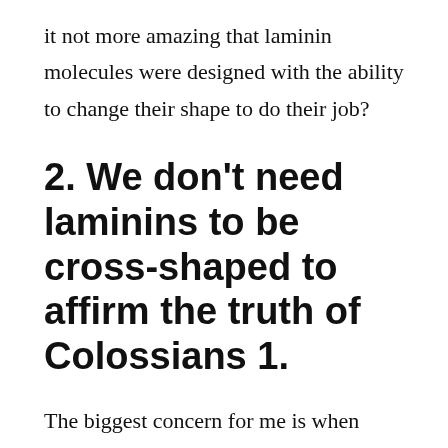it not more amazing that laminin molecules were designed with the ability to change their shape to do their job?
2. We don’t need laminins to be cross-shaped to affirm the truth of Colossians 1.
The biggest concern for me is when Christian T-shirts, blogs and facebook threads conclude